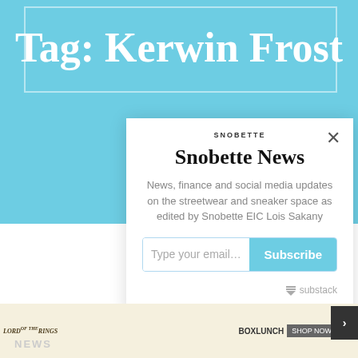Tag: Kerwin Frost
[Figure (screenshot): Snobette newsletter subscription modal popup with logo, title 'Snobette News', description text, email input field and Subscribe button, and Substack branding]
[Figure (screenshot): Advertisement banner for Lord of the Rings at BoxLunch with shop now button]
NEWS